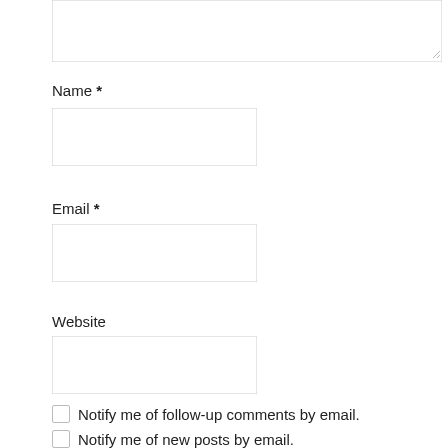[Figure (screenshot): A comment form textarea field (partially visible at top)]
Name *
[Figure (screenshot): Name input text field (empty)]
Email *
[Figure (screenshot): Email input text field (empty)]
Website
[Figure (screenshot): Website input text field (empty)]
Notify me of follow-up comments by email.
Notify me of new posts by email.